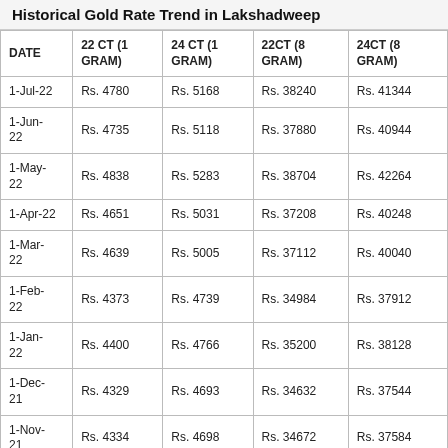Historical Gold Rate Trend in Lakshadweep
| DATE | 22 CT (1 GRAM) | 24 CT (1 GRAM) | 22CT (8 GRAM) | 24CT (8 GRAM) |
| --- | --- | --- | --- | --- |
| 1-Jul-22 | Rs. 4780 | Rs. 5168 | Rs. 38240 | Rs. 41344 |
| 1-Jun-22 | Rs. 4735 | Rs. 5118 | Rs. 37880 | Rs. 40944 |
| 1-May-22 | Rs. 4838 | Rs. 5283 | Rs. 38704 | Rs. 42264 |
| 1-Apr-22 | Rs. 4651 | Rs. 5031 | Rs. 37208 | Rs. 40248 |
| 1-Mar-22 | Rs. 4639 | Rs. 5005 | Rs. 37112 | Rs. 40040 |
| 1-Feb-22 | Rs. 4373 | Rs. 4739 | Rs. 34984 | Rs. 37912 |
| 1-Jan-22 | Rs. 4400 | Rs. 4766 | Rs. 35200 | Rs. 38128 |
| 1-Dec-21 | Rs. 4329 | Rs. 4693 | Rs. 34632 | Rs. 37544 |
| 1-Nov-21 | Rs. 4334 | Rs. 4698 | Rs. 34672 | Rs. 37584 |